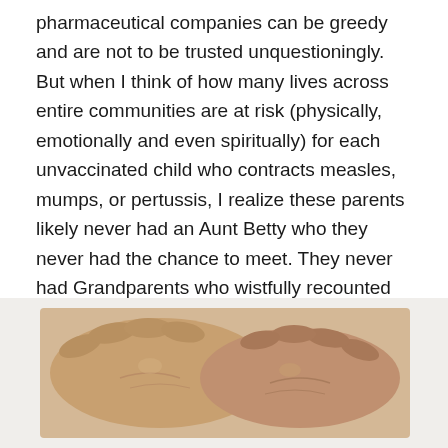pharmaceutical companies can be greedy and are not to be trusted unquestioningly. But when I think of how many lives across entire communities are at risk (physically, emotionally and even spiritually) for each unvaccinated child who contracts measles, mumps, or pertussis, I realize these parents likely never had an Aunt Betty who they never had the chance to meet. They never had Grandparents who wistfully recounted stories of their children and neighborhoods being wiped out in the course of weeks. They never had a parent whose life was so changed by a dying sister that his gentle life of service was always tied to her passing.
[Figure (photo): Close-up photograph of elderly hands, appearing to show wrinkled skin, possibly clasped together or holding something.]